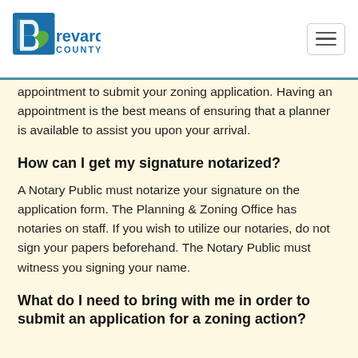Brevard County
appointment to submit your zoning application. Having an appointment is the best means of ensuring that a planner is available to assist you upon your arrival.
How can I get my signature notarized?
A Notary Public must notarize your signature on the application form. The Planning & Zoning Office has notaries on staff. If you wish to utilize our notaries, do not sign your papers beforehand. The Notary Public must witness you signing your name.
What do I need to bring with me in order to submit an application for a zoning action?